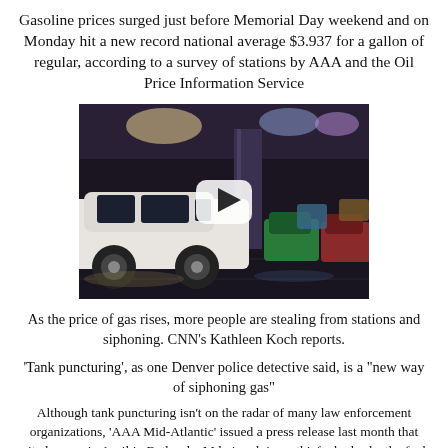Gasoline prices surged just before Memorial Day weekend and on Monday hit a new record national average $3.937 for a gallon of regular, according to a survey of stations by AAA and the Oil Price Information Service
[Figure (photo): Video thumbnail showing a parking garage scene at night with cars parked, a white SUV prominent on the left, and a play button overlay in the center indicating a video player.]
As the price of gas rises, more people are stealing from stations and siphoning. CNN's Kathleen Koch reports.
'Tank puncturing', as one Denver police detective said, is a "new way of siphoning gas"
Although tank puncturing isn't on the radar of many law enforcement organizations, 'AAA Mid-Atlantic' issued a press release last month that cited a case in April in Bethesda, Md., involving a thief who broke the fuel line underneath a car and sapped five gallons of gas. Montgomery County police said a bus